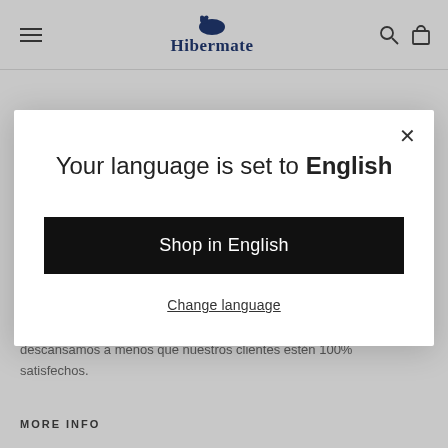Hibermate
descansamos a menos que nuestros clientes estén 100% satisfechos.
MORE INFO
[Figure (screenshot): Modal dialog overlay on a website. Title: 'Your language is set to English'. Black button 'Shop in English'. Underlined link 'Change language'. Close (X) button in top right.]